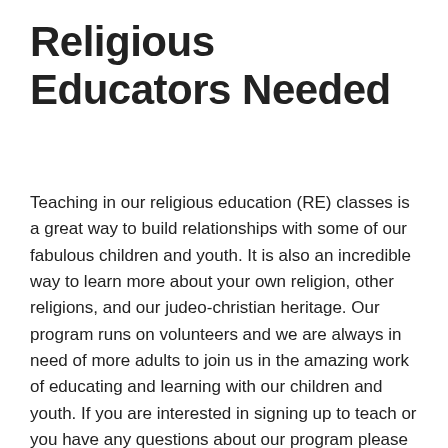Religious Educators Needed
Teaching in our religious education (RE) classes is a great way to build relationships with some of our fabulous children and youth. It is also an incredible way to learn more about your own religion, other religions, and our judeo-christian heritage. Our program runs on volunteers and we are always in need of more adults to join us in the amazing work of educating and learning with our children and youth. If you are interested in signing up to teach or you have any questions about our program please contact our Director of Religious Education at dre@mpuuc.org. Also please visit our Children and Youth page to check out the descriptions of the curricula we will be using in our classrooms this year.